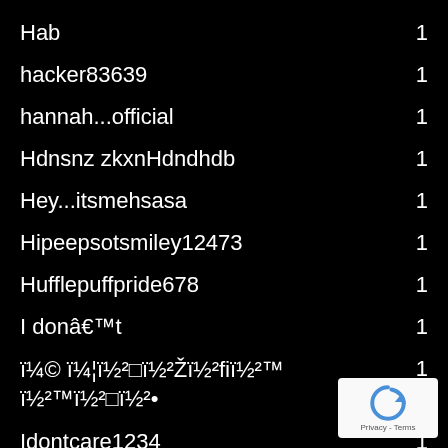Hab    1
hacker83639    1
hannah...official    1
Hdnsnz zkxnHdndhdb    1
Hey...itsmehsasa    1
Hipeepsotsmiley12473    1
Hufflepuffpride678    1
I donâ€™t    1
ï¼©  ï¼¦ï½²□ï½²Žï½²ﬁï½²™ï½²™ï½²□ï½²•    1
Idontcare1234    1